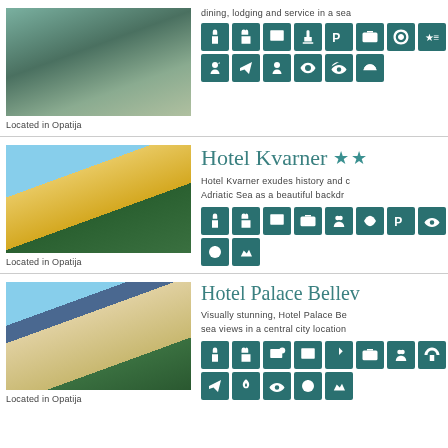[Figure (photo): Hotel building with sea view, lush greenery in foreground, multi-story modern hotel]
dining, lodging and service in a sea...
Located in Opatija
Hotel Kvarner
Hotel Kvarner exudes history and character with the Adriatic Sea as a beautiful backdrop...
[Figure (photo): Hotel Kvarner yellow facade with sea view and pine trees]
Located in Opatija
Hotel Palace Bellev...
Visually stunning, Hotel Palace Be... sea views in a central city location...
[Figure (photo): Hotel Palace Belle Vue exterior with sea view]
Located in Opatija